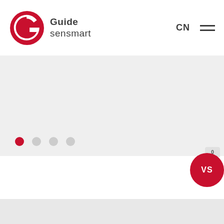[Figure (logo): Guide Sensmart logo with red circular G icon and company name text in dark gray]
CN
[Figure (infographic): Hamburger menu icon with three horizontal lines]
[Figure (infographic): Carousel slider area with four navigation dots, first dot active (red), rest gray]
[Figure (infographic): VS comparison badge: red circle with VS text and small notch/tab above on right side]
Instant®Sharp
[Figure (infographic): Solid red circle on right side of instant sharp section]